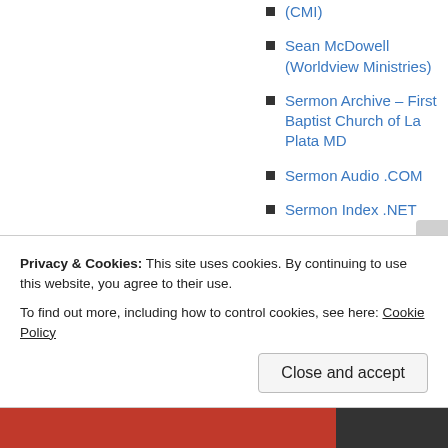(CMI)
Sean McDowell (Worldview Ministries)
Sermon Archive – First Baptist Church of La Plata MD
Sermon Audio .COM
Sermon Index .NET
SLJ Institute (the teachings
Privacy & Cookies: This site uses cookies. By continuing to use this website, you agree to their use.
To find out more, including how to control cookies, see here: Cookie Policy
Close and accept